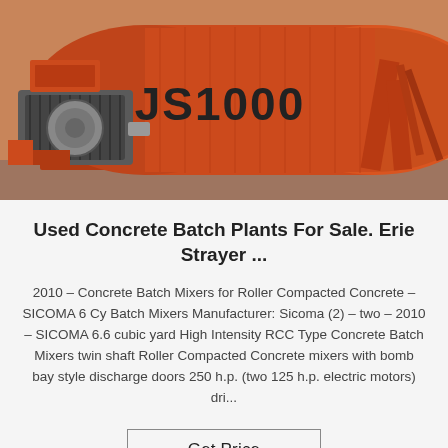[Figure (photo): Photo of an orange JS1000 concrete batch mixer machine with twin shafts, electric motor on the left side, labeled 'JS1000' in large stencil letters on the cylindrical drum.]
Used Concrete Batch Plants For Sale. Erie Strayer ...
2010 – Concrete Batch Mixers for Roller Compacted Concrete – SICOMA 6 Cy Batch Mixers Manufacturer: Sicoma (2) – two – 2010 – SICOMA 6.6 cubic yard High Intensity RCC Type Concrete Batch Mixers twin shaft Roller Compacted Concrete mixers with bomb bay style discharge doors 250 h.p. (two 125 h.p. electric motors) dri...
Get Price